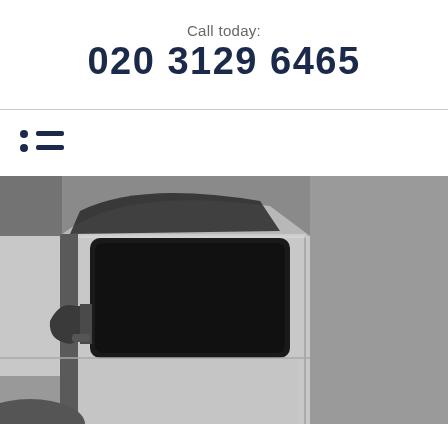Call today:
020 3129 6465
[Figure (illustration): Hamburger/list menu icon with two blue dots and two horizontal lines]
[Figure (photo): Close-up photograph of the cab area of a white delivery van, showing the door, wing mirror, and window]